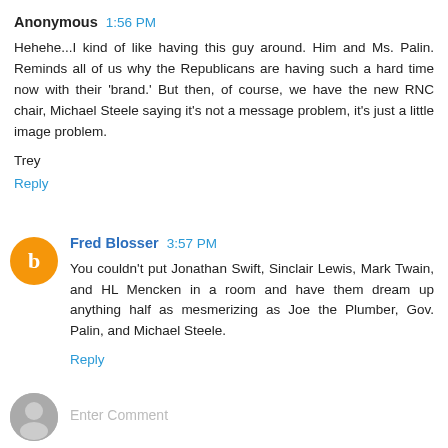Anonymous 1:56 PM
Hehehe...I kind of like having this guy around. Him and Ms. Palin. Reminds all of us why the Republicans are having such a hard time now with their 'brand.' But then, of course, we have the new RNC chair, Michael Steele saying it's not a message problem, it's just a little image problem.
Trey
Reply
Fred Blosser 3:57 PM
You couldn't put Jonathan Swift, Sinclair Lewis, Mark Twain, and HL Mencken in a room and have them dream up anything half as mesmerizing as Joe the Plumber, Gov. Palin, and Michael Steele.
Reply
Enter Comment